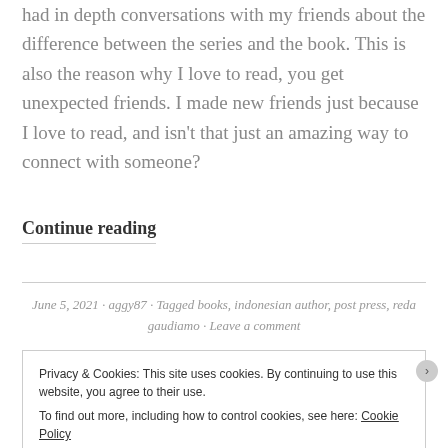had in depth conversations with my friends about the difference between the series and the book. This is also the reason why I love to read, you get unexpected friends. I made new friends just because I love to read, and isn't that just an amazing way to connect with someone?
Continue reading
June 5, 2021 · aggy87 · Tagged books, indonesian author, post press, reda gaudiamo · Leave a comment
Privacy & Cookies: This site uses cookies. By continuing to use this website, you agree to their use.
To find out more, including how to control cookies, see here: Cookie Policy
Close and accept